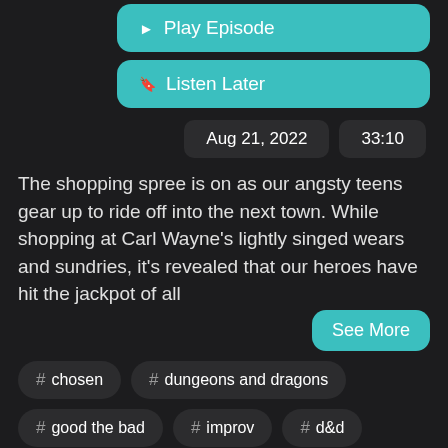[Figure (screenshot): Play Episode teal button]
[Figure (screenshot): Listen Later teal button]
Aug 21, 2022   33:10
The shopping spree is on as our angsty teens gear up to ride off into the next town. While shopping at Carl Wayne's lightly singed wears and sundries, it's revealed that our heroes have hit the jackpot of all
[Figure (screenshot): See More teal button]
# chosen
# dungeons and dragons
# good the bad
# improv
# d&d
# yad
# ninety percent